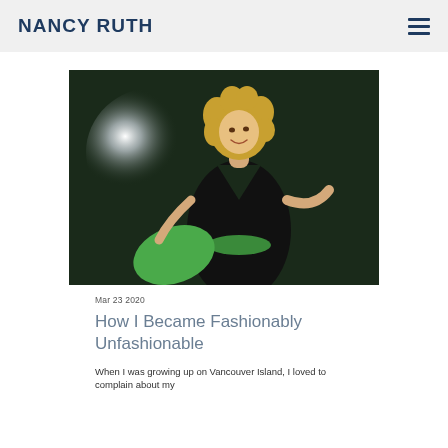NANCY RUTH
[Figure (photo): Woman with curly blonde hair wearing a black dress with green accents, posed against a dark background with a bright light behind her.]
Mar 23 2020
How I Became Fashionably Unfashionable
When I was growing up on Vancouver Island, I loved to complain about my